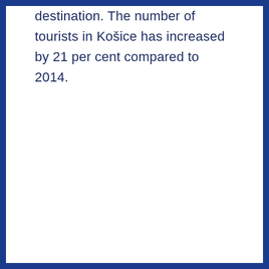destination. The number of tourists in Košice has increased by 21 per cent compared to 2014.